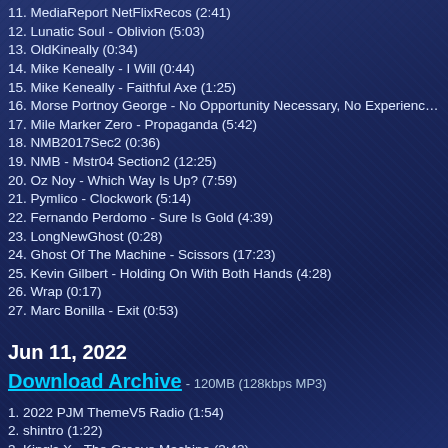11. MediaReport NetFlixRecos (2:41)
12. Lunatic Soul - Oblivion (5:03)
13. OldKineally (0:34)
14. Mike Keneally - I Will (0:44)
15. Mike Keneally - Faithful Axe (1:25)
16. Morse Portnoy George - No Opportunity Necessary, No Experience Need
17. Mile Marker Zero - Propaganda (5:42)
18. NMB2017Sec2 (0:36)
19. NMB - Mstr04 Section2 (12:25)
20. Oz Noy - Which Way Is Up? (7:59)
21. Pymlico - Clockwork (5:14)
22. Fernando Perdomo - Sure Is Gold (4:39)
23. LongNewGhost (0:28)
24. Ghost Of The Machine - Scissors (17:23)
25. Kevin Gilbert - Holding On With Both Hands (4:28)
26. Wrap (0:17)
27. Marc Bonilla - Exit (0:53)
Jun 11, 2022
Download Archive - 120MB (128kbps MP3)
1. 2022 PJM ThemeV5 Radio (1:54)
2. shintro (1:22)
3. King's X - The Groove Machine (3:42)
4. Liquid Tension Experiment - Biaxident, from the 1999 album "Liquid Tensio
5. Karmakanic - Let In Hollywood (4:55)
6. Mike Keneally & Beer For Dolphins - Only Mondays (2:03)
7. Moe Tar - Dichotomy (3:57)
8. JT (0:20)
9. James Taylor-Dad Loves His Work 08 - Summer's Here (2:39)